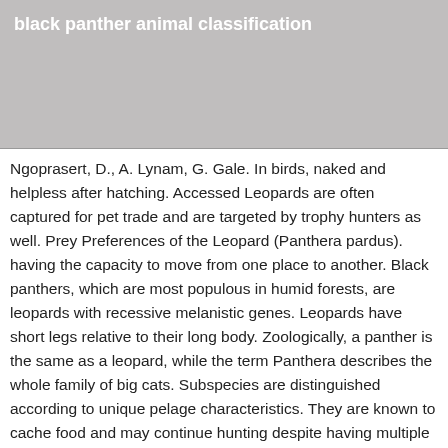[Figure (photo): Gray placeholder image area representing a black panther article header image]
black panther animal classification
Ngoprasert, D., A. Lynam, G. Gale. In birds, naked and helpless after hatching. Accessed Leopards are often captured for pet trade and are targeted by trophy hunters as well. Prey Preferences of the Leopard (Panthera pardus). having the capacity to move from one place to another. Black panthers, which are most populous in humid forests, are leopards with recessive melanistic genes. Leopards have short legs relative to their long body. Zoologically, a panther is the same as a leopard, while the term Panthera describes the whole family of big cats. Subspecies are distinguished according to unique pelage characteristics. They are known to cache food and may continue hunting despite having multiple carcasses already cached. Wild